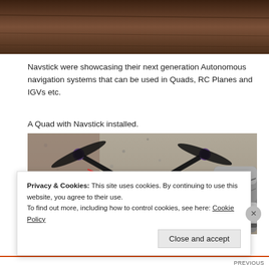[Figure (photo): Top portion of a photo showing a dark wooden surface, partially cropped, appearing to be the top edge of an image from above.]
Navstick were showcasing their next generation Autonomous navigation systems that can be used in Quads, RC Planes and IGVs etc.
A Quad with Navstick installed.
[Figure (photo): Aerial/top-down photo of a quadcopter drone with four black propellers on a concrete/gravel surface, with electronic components visible in the center and a person's shoe visible at the right edge.]
Privacy & Cookies: This site uses cookies. By continuing to use this website, you agree to their use.
To find out more, including how to control cookies, see here: Cookie Policy
Close and accept